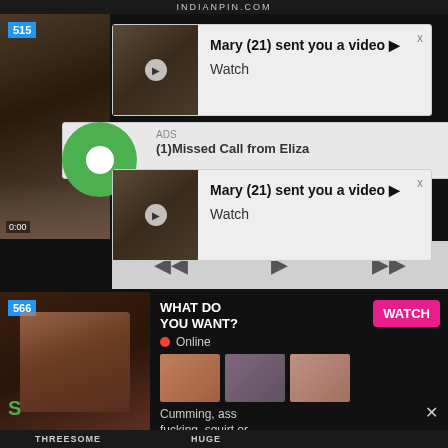INDIANPIN.COM
[Figure (screenshot): Video player area with thumbnail on left, number badge 515, timestamp 0:00]
[Figure (screenshot): Notification popup: Mary (21) sent you a video, Watch]
[Figure (screenshot): Notification popup ADS: (1)Missed Call from Eliza]
[Figure (screenshot): Second notification popup: Mary (21) sent you a video, Watch]
[Figure (screenshot): Video player controls: rewind, play, fast forward]
[Figure (screenshot): Bottom left video thumbnail with badge 566 and green S label]
WHAT DO YOU WANT?
WATCH
Online
Cumming, ass fucking, squirt or...
• ADS
THREESOME
HUGE